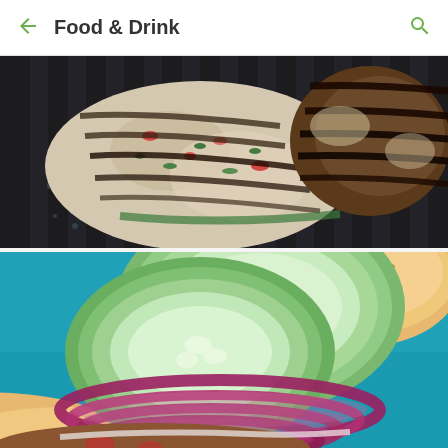Food & Drink
[Figure (photo): Close-up of seasoned burger patties with grill marks cooking on a black grill pan, showing char marks and colorful herbs and peppers mixed into the patties]
[Figure (photo): Close-up of a burger topped with sliced cucumber and red onion rings on a bun, with teal/blue background]